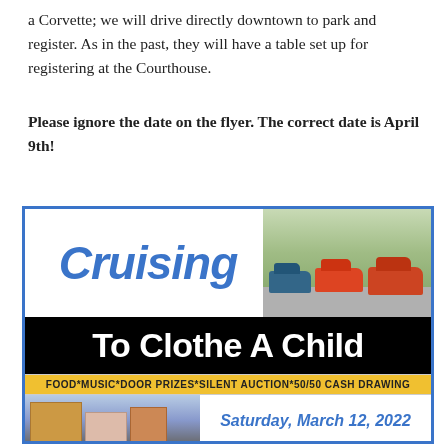a Corvette; we will drive directly downtown to park and register. As in the past, they will have a table set up for registering at the Courthouse.
Please ignore the date on the flyer. The correct date is April 9th!
[Figure (illustration): Event flyer for 'Cruising To Clothe A Child' car show. Top section shows the word 'Cruising' in blue italic script on white background on the left, and a photo of classic cars on a road on the right. Center black banner reads 'To Clothe A Child' in large white text. Yellow strip below reads 'FOOD*MUSIC*DOOR PRIZES*SILENT AUCTION*50/50 CASH DRAWING'. Bottom section shows a street photo on the left and event details 'Saturday, March 12, 2022 11:00AM-2:00 PM' in blue italic text on the right.]